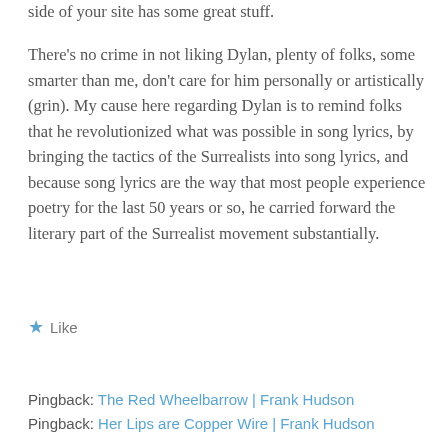side of your site has some great stuff.
There's no crime in not liking Dylan, plenty of folks, some smarter than me, don't care for him personally or artistically (grin). My cause here regarding Dylan is to remind folks that he revolutionized what was possible in song lyrics, by bringing the tactics of the Surrealists into song lyrics, and because song lyrics are the way that most people experience poetry for the last 50 years or so, he carried forward the literary part of the Surrealist movement substantially.
Like
Reply
Pingback: The Red Wheelbarrow | Frank Hudson
Pingback: Her Lips are Copper Wire | Frank Hudson